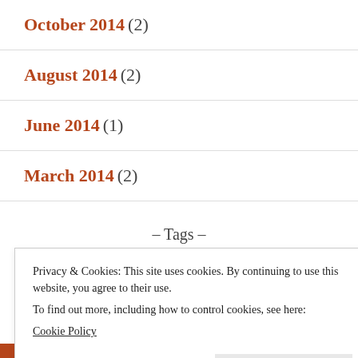October 2014 (2)
August 2014 (2)
June 2014 (1)
March 2014 (2)
- Tags -
Business Strategy Campaign Candidate Experience
Privacy & Cookies: This site uses cookies. By continuing to use this website, you agree to their use.
To find out more, including how to control cookies, see here:
Cookie Policy
Close and accept